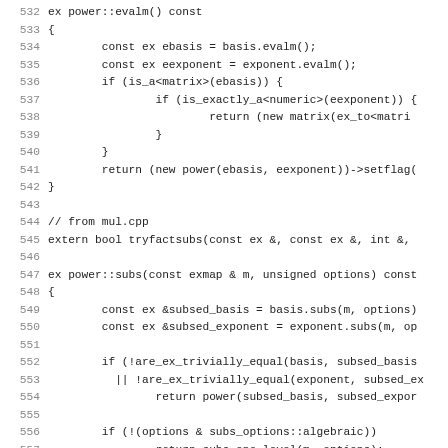Source code listing lines 532-563, showing C++ implementation of power::evalm() and power::subs() methods